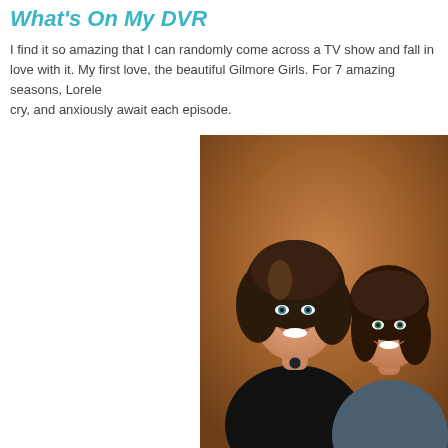What's On My DVR
I find it so amazing that I can randomly come across a TV show and fall in love with it. My first love, the beautiful Gilmore Girls. For 7 amazing seasons, Lorelei made us laugh, cry, and anxiously await each episode.
[Figure (photo): Promotional photo of two women smiling, from the TV show Gilmore Girls - the mother and daughter characters posed together against a warm brown background]